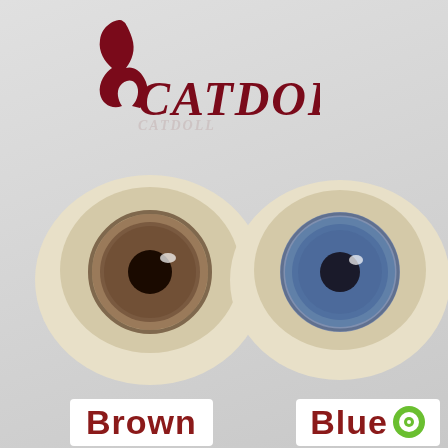[Figure (logo): CATDOLL brand logo in dark red/maroon color, featuring a stylized swan shape above the text CATDOLL in serif italic font]
[Figure (photo): Two doll eyes side by side: left eye is brown with detailed iris and dark pupil, right eye is blue with grey-blue iris and dark pupil. Both are set in cream/ivory colored eye casings viewed from the front.]
Brown
Blue